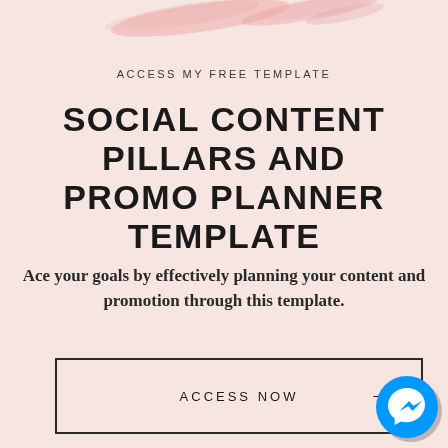[Figure (illustration): Decorative pink brush stroke watercolor design at top of page]
ACCESS MY FREE TEMPLATE
SOCIAL CONTENT PILLARS AND PROMO PLANNER TEMPLATE
Ace your goals by effectively planning your content and promotion through this template.
ACCESS NOW →
[Figure (logo): Facebook Messenger blue circle icon with lightning bolt/chat icon, bottom right corner]